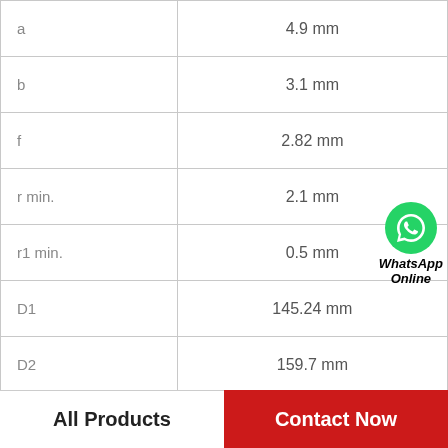| Parameter | Value |
| --- | --- |
| a | 4.9 mm |
| b | 3.1 mm |
| f | 2.82 mm |
| r min. | 2.1 mm |
| r1 min. | 0.5 mm |
| D1 | 145.24 mm |
| D2 | 159.7 mm |
| Weight | 2.52 Kg |
| Basic dynamic load |  |
[Figure (logo): WhatsApp Online button with green phone icon]
All Products   Contact Now